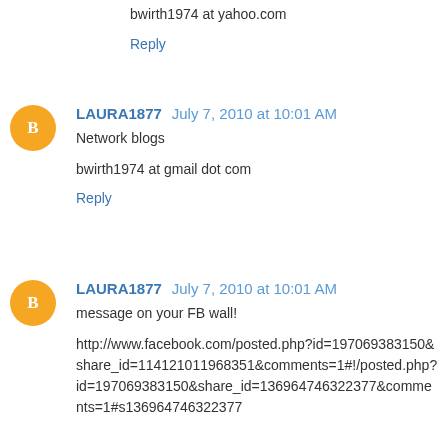bwirth1974 at yahoo.com
Reply
LAURA1877  July 7, 2010 at 10:01 AM
Network blogs
bwirth1974 at gmail dot com
Reply
LAURA1877  July 7, 2010 at 10:01 AM
message on your FB wall!
http://www.facebook.com/posted.php?id=197069383150&share_id=114121011968351&comments=1#!/posted.php?id=197069383150&share_id=136964746322377&comments=1#s136964746322377